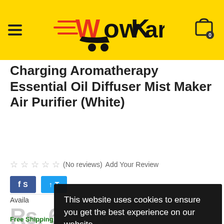WowKart
Charging Aromatherapy Essential Oil Diffuser Mist Maker Air Purifier (White)
☆ ☆ ☆ ☆ ☆ (No reviews) Add Your Review
f S... t T...
Availa...
Rs. 629.00
This website uses cookies to ensure you get the best experience on our website.
Learn more
Got it!
Free Shipping
Order today, and you'll receive your package between